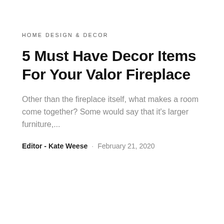HOME DESIGN & DECOR
5 Must Have Decor Items For Your Valor Fireplace
Other than the fireplace itself, what makes a room come together? Some would say that it's larger furniture,...
Editor - Kate Weese · February 21, 2020